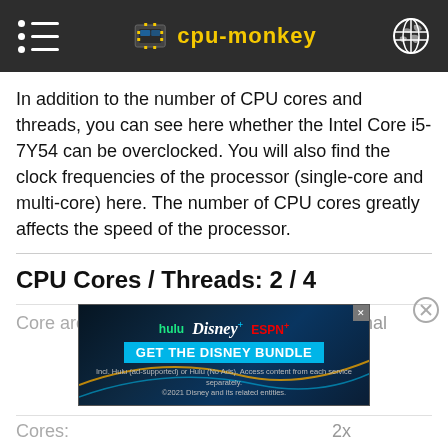cpu-monkey
In addition to the number of CPU cores and threads, you can see here whether the Intel Core i5-7Y54 can be overclocked. You will also find the clock frequencies of the processor (single-core and multi-core) here. The number of CPU cores greatly affects the speed of the processor.
CPU Cores / Threads: 2 / 4
Core architecture:    normal
[Figure (screenshot): Advertisement banner for Disney Bundle featuring Hulu, Disney+, and ESPN+ with 'GET THE DISNEY BUNDLE' call to action]
Cores:    2x